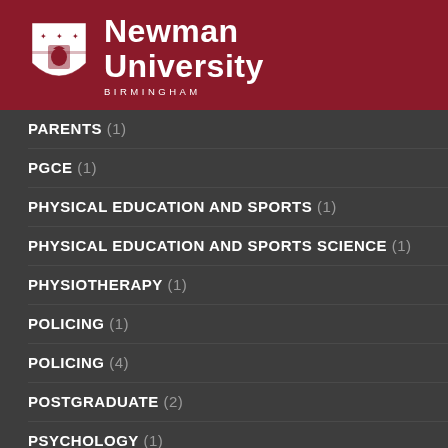[Figure (logo): Newman University Birmingham logo with shield and text on dark red background]
PARENTS (1)
PGCE (1)
PHYSICAL EDUCATION AND SPORTS (1)
PHYSICAL EDUCATION AND SPORTS SCIENCE (1)
PHYSIOTHERAPY (1)
POLICING (1)
POLICING (4)
POSTGRADUATE (2)
PSYCHOLOGY (1)
PSYCHOLOGY AND COUNSELLING STUDIES (1)